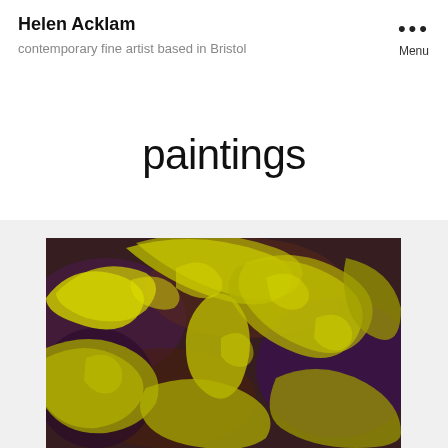Helen Acklam
contemporary fine artist based in Bristol
paintings
[Figure (photo): Abstract painting with yellow brushstrokes and curved forms on a dark purple/brown background, appearing to show overlapping organic shapes]